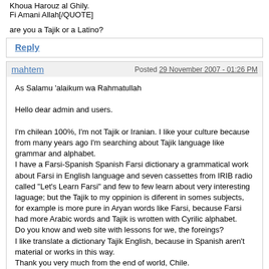Khoua Harouz al Ghily.
Fi Amani Allah[/QUOTE]
are you a Tajik or a Latino?
Reply
mahtem
Posted 29 November 2007 - 01:26 PM
As Salamu 'alaikum wa Rahmatullah

Hello dear admin and users.

I'm chilean 100%, I'm not Tajik or Iranian. I like your culture because from many years ago I'm searching about Tajik language like grammar and alphabet.
I have a Farsi-Spanish Spanish Farsi dictionary a grammatical work about Farsi in English language and seven cassettes from IRIB radio called "Let's Learn Farsi" and few to few learn about very interesting laguage; but the Tajik to my oppinion is diferent in somes subjects, for example is more pure in Aryan words like Farsi, because Farsi had more Arabic words and Tajik is wrotten with Cyrilic alphabet.
Do you know and web site with lessons for we, the foreings?
I like translate a dictionary Tajik English, because in Spanish aren't material or works in this way.
Thank you very much from the end of world, Chile.